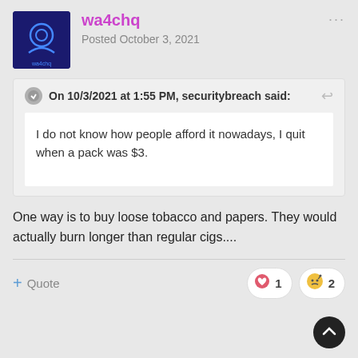wa4chq
Posted October 3, 2021
On 10/3/2021 at 1:55 PM, securitybreach said:
I do not know how people afford it nowadays, I quit when a pack was $3.
One way is to buy loose tobacco and papers.  They would actually burn longer than regular cigs....
Quote
1
2
securitybreach
Posted October 3, 2021